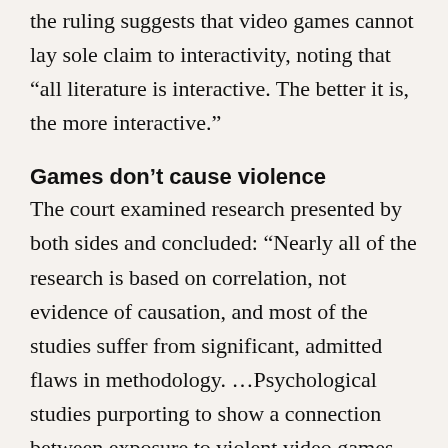the ruling suggests that video games cannot lay sole claim to interactivity, noting that “all literature is interactive. The better it is, the more interactive.”
Games don’t cause violence
The court examined research presented by both sides and concluded: “Nearly all of the research is based on correlation, not evidence of causation, and most of the studies suffer from significant, admitted flaws in methodology. …Psychological studies purporting to show a connection between exposure to violent video games and harmful effects on children do not prove that such exposure causes minors to act aggressively. Any demonstrated effects are both small and indistinguishable from effects produced by other media.”